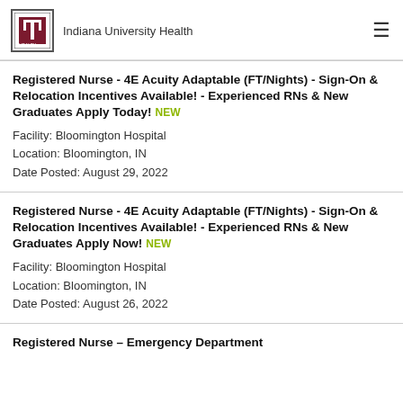Indiana University Health
Registered Nurse - 4E Acuity Adaptable (FT/Nights) - Sign-On & Relocation Incentives Available! - Experienced RNs & New Graduates Apply Today! NEW
Facility: Bloomington Hospital
Location: Bloomington, IN
Date Posted: August 29, 2022
Registered Nurse - 4E Acuity Adaptable (FT/Nights) - Sign-On & Relocation Incentives Available! - Experienced RNs & New Graduates Apply Now! NEW
Facility: Bloomington Hospital
Location: Bloomington, IN
Date Posted: August 26, 2022
Registered Nurse – Emergency Department